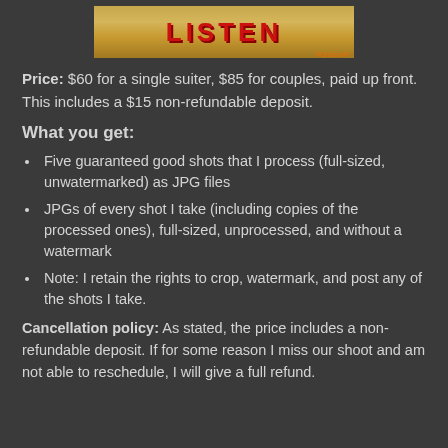[Figure (photo): Banner image with red text reading LISTEN on a golden/yellow textured background]
Price: $60 for a single suiter, $85 for couples, paid up front. This includes a $15 non-refundable deposit.
What you get:
Five guaranteed good shots that I process (full-sized, unwatermarked) as JPG files
JPGs of every shot I take (including copies of the processed ones), full-sized, unprocessed, and without a watermark
Note: I retain the rights to crop, watermark, and post any of the shots I take.
Cancellation policy: As stated, the price includes a non-refundable deposit. If for some reason I miss our shoot and am not able to reschedule, I will give a full refund.